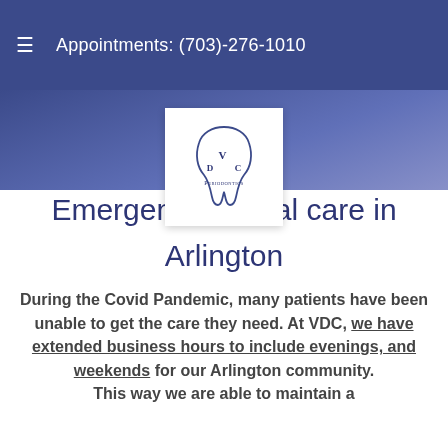≡  Appointments: (703)-276-1010
[Figure (logo): VDC Periodontics logo — white background box with stylized tooth outline and text 'VDC Periodontics']
Emergency Dental care in Arlington
During the Covid Pandemic, many patients have been unable to get the care they need. At VDC, we have extended business hours to include evenings, and weekends for our Arlington community. This way we are able to maintain a